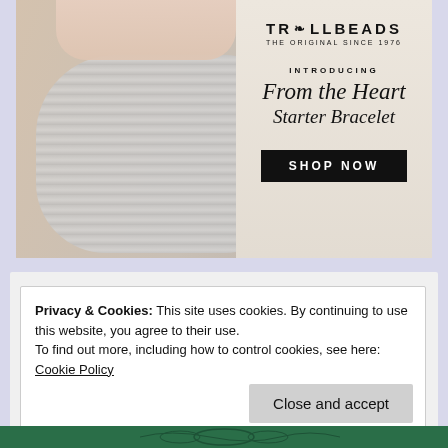[Figure (photo): Trollbeads advertisement showing hands holding a knitted fabric with a charm bracelet. Brand logo reads TROLLBEADS THE ORIGINAL SINCE 1976. Text: INTRODUCING From the Heart Starter Bracelet. Black button: SHOP NOW]
Privacy & Cookies: This site uses cookies. By continuing to use this website, you agree to their use.
To find out more, including how to control cookies, see here: Cookie Policy
Close and accept
[Figure (illustration): Green decorative illustration at the bottom of the page]